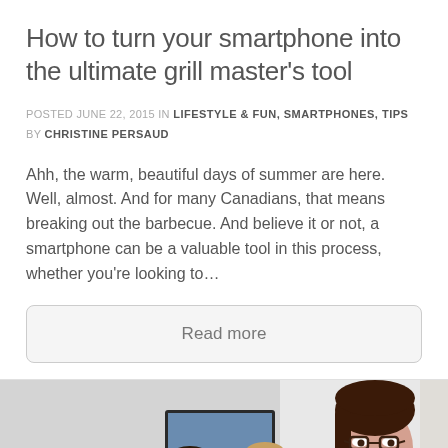How to turn your smartphone into the ultimate grill master's tool
POSTED JUNE 22, 2015 IN LIFESTYLE & FUN, SMARTPHONES, TIPS BY CHRISTINE PERSAUD
Ahh, the warm, beautiful days of summer are here. Well, almost. And for many Canadians, that means breaking out the barbecue. And believe it or not, a smartphone can be a valuable tool in this process, whether you're looking to…
Read more
[Figure (photo): Office photo showing two people sitting at a computer (viewed from behind) and a woman with glasses and dark hair looking at camera on the right side]